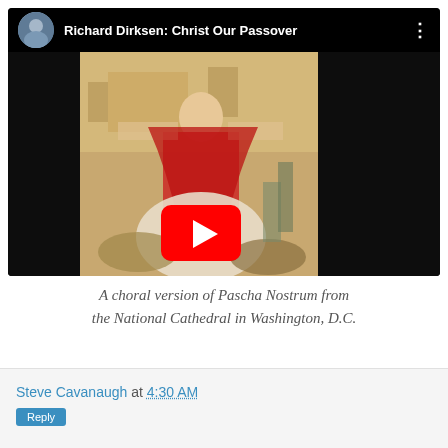[Figure (screenshot): YouTube video embed showing 'Richard Dirksen: Christ Our Passover' with a Renaissance-style painting of the Resurrection as thumbnail and a red YouTube play button in the center.]
A choral version of Pascha Nostrum from the National Cathedral in Washington, D.C.
Steve Cavanaugh at 4:30 AM